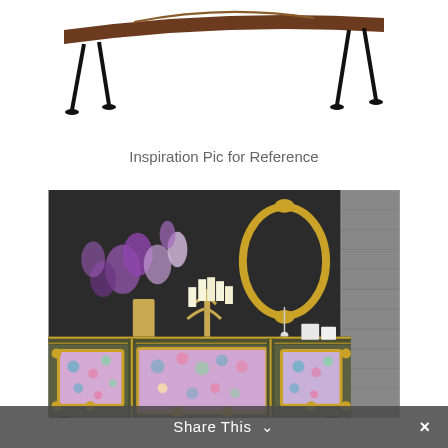[Figure (photo): Antique wooden bench/table with ornate legs, partially visible at top of page, white background]
Inspiration Pic for Reference
[Figure (photo): Styled sideboard/buffet painted dark olive/grey with colorful floral painted panels (pink, blue, teal tones), gold hardware and trim. Decorated with gold candelabra, white candles, gold vase with purple flowers, ornate gold oval mirror on dark charcoal wall]
Share This ∨